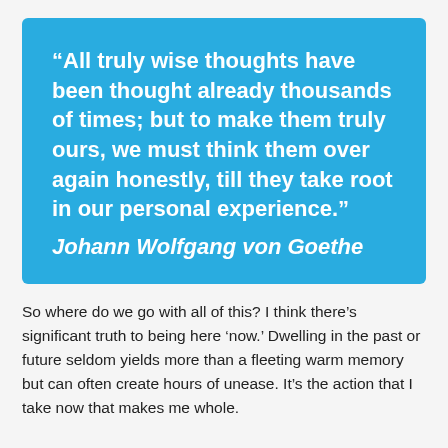“All truly wise thoughts have been thought already thousands of times; but to make them truly ours, we must think them over again honestly, till they take root in our personal experience.” Johann Wolfgang von Goethe
So where do we go with all of this? I think there’s significant truth to being here ‘now.’ Dwelling in the past or future seldom yields more than a fleeting warm memory but can often create hours of unease. It’s the action that I take now that makes me whole.